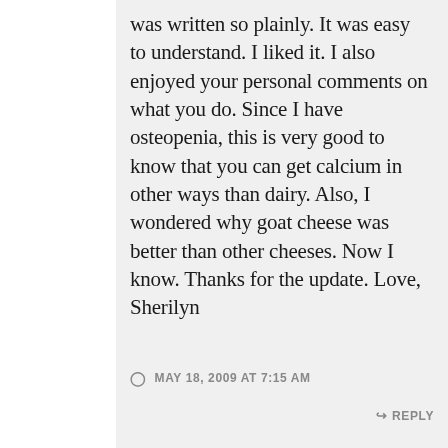was written so plainly. It was easy to understand. I liked it. I also enjoyed your personal comments on what you do. Since I have osteopenia, this is very good to know that you can get calcium in other ways than dairy. Also, I wondered why goat cheese was better than other cheeses. Now I know. Thanks for the update. Love, Sherilyn
MAY 18, 2009 AT 7:15 AM
REPLY